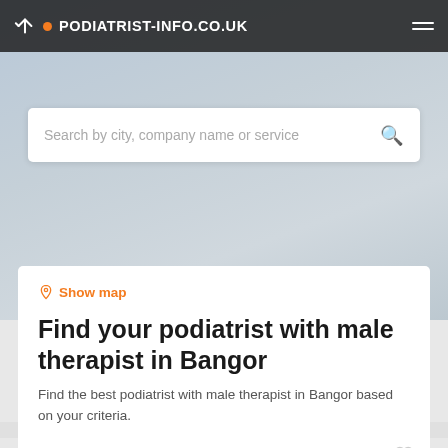PODIATRIST-INFO.CO.UK
Search by city, company name or service
Show map
Find your podiatrist with male therapist in Bangor
Find the best podiatrist with male therapist in Bangor based on your criteria.
Filters
The Chiropody Room  Banbridge